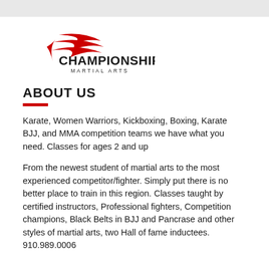[Figure (logo): Championship Martial Arts logo with red swoosh graphic and bold text]
ABOUT US
Karate, Women Warriors, Kickboxing, Boxing, Karate BJJ, and MMA competition teams we have what you need. Classes for ages 2 and up
From the newest student of martial arts to the most experienced competitor/fighter. Simply put there is no better place to train in this region. Classes taught by certified instructors, Professional fighters, Competition champions, Black Belts in BJJ and Pancrase and other styles of martial arts, two Hall of fame inductees. 910.989.0006